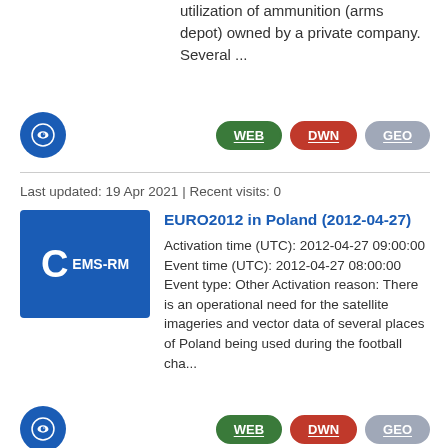utilization of ammunition (arms depot) owned by a private company. Several ...
[Figure (logo): Blue circular icon with eye symbol]
WEB DWN GEO buttons
Last updated: 19 Apr 2021 | Recent visits: 0
EURO2012 in Poland (2012-04-27)
[Figure (logo): Blue rectangle badge with letter C and EMS-RM label]
Activation time (UTC): 2012-04-27 09:00:00 Event time (UTC): 2012-04-27 08:00:00 Event type: Other Activation reason: There is an operational need for the satellite imageries and vector data of several places of Poland being used during the football cha...
[Figure (logo): Blue circular icon with eye symbol]
WEB DWN GEO buttons